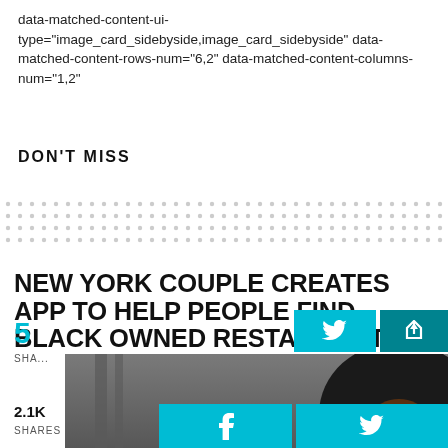data-matched-content-ui-type="image_card_sidebyside,image_card_sidebyside" data-matched-content-rows-num="6,2" data-matched-content-columns-num="1,2"
DON'T MISS
[Figure (other): Dotted placeholder area for matched content ads]
NEW YORK COUPLE CREATES APP TO HELP PEOPLE FIND BLACK OWNED RESTAURANTS
[Figure (screenshot): Video player showing a woman with an afro hairstyle seated at a panel. Video controls visible at bottom including skip-back, play, skip-forward, mute, progress bar and fullscreen button. Three-dot menu in top right corner.]
Comments Off
5
SHA...
2.1K SHARES